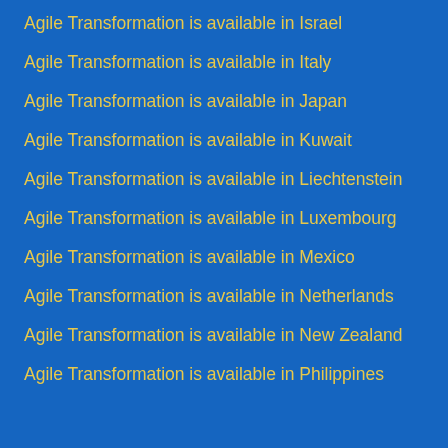Agile Transformation is available in Israel
Agile Transformation is available in Italy
Agile Transformation is available in Japan
Agile Transformation is available in Kuwait
Agile Transformation is available in Liechtenstein
Agile Transformation is available in Luxembourg
Agile Transformation is available in Mexico
Agile Transformation is available in Netherlands
Agile Transformation is available in New Zealand
Agile Transformation is available in Philippines